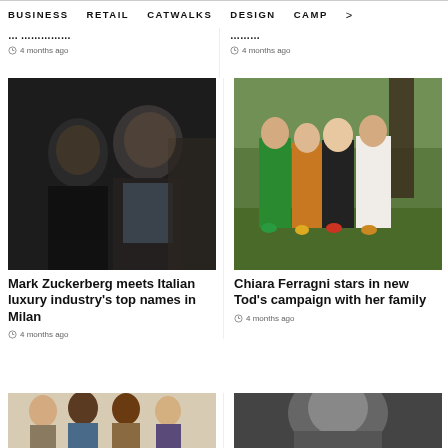BUSINESS   RETAIL   CATWALKS   DESIGN   CAMP >
4 months ago
4 months ago
[Figure (photo): Mark Zuckerberg meets Italian luxury industry representatives in Milan]
Mark Zuckerberg meets Italian luxury industry's top names in Milan
4 months ago
[Figure (photo): Chiara Ferragni with her family posing outdoors in colorful outfits]
Chiara Ferragni stars in new Tod's campaign with her family
4 months ago
[Figure (photo): Group of young models in colorful fashion]
[Figure (photo): Black and white portrait photo]